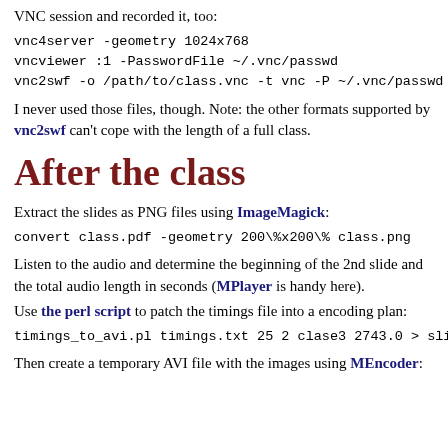VNC session and recorded it, too:
vnc4server -geometry 1024x768
vncviewer :1 -PasswordFile ~/.vnc/passwd
vnc2swf -o /path/to/class.vnc -t vnc -P ~/.vnc/passwd :1
I never used those files, though. Note: the other formats supported by vnc2swf can't cope with the length of a full class.
After the class
Extract the slides as PNG files using ImageMagick:
convert class.pdf -geometry 200\%x200\% class.png
Listen to the audio and determine the beginning of the 2nd slide and the total audio length in seconds (MPlayer is handy here).
Use the perl script to patch the timings file into a encoding plan:
timings_to_avi.pl timings.txt 25 2 clase3 2743.0 > slides
Then create a temporary AVI file with the images using MEncoder: